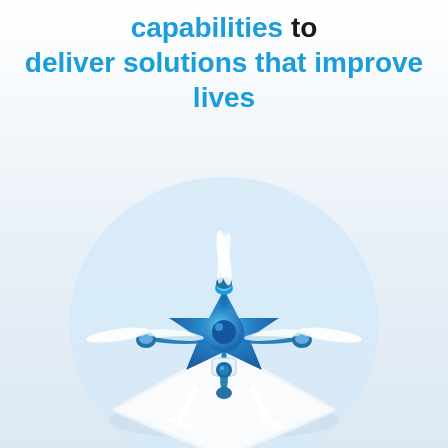capabilities to deliver solutions that improve lives
[Figure (illustration): A 3D rendered blue and white quadcopter drone with camera, sitting on a white diamond-shaped landing pad, against a light blue circular background.]